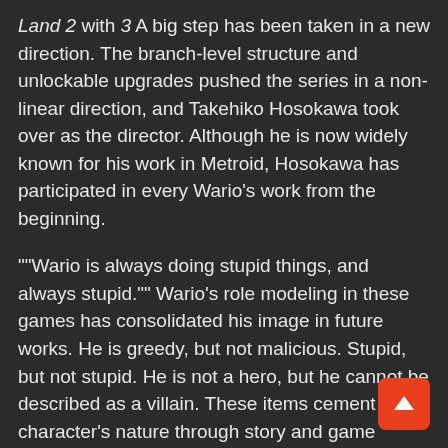Land 2 with 3 A big step has been taken in a new direction. The branch-level structure and unlockable upgrades pushed the series in a non-linear direction, and Takehiko Hosokawa took over as the director. Although he is now widely known for his work in Metroid, Hosokawa has participated in every Wario's work from the beginning.
""Wario is always doing stupid things, and always stupid."" Wario's role modeling in these games has consolidated his image in future works. He is greedy, but not malicious. Stupid, but not stupid. He is not a hero, but he cannot be described as a villain. These items cement the character's nature through story and game elements, such as his money-driven motivation and expressive transformations like Zombie and Flat Wario.
Matsuoka then returned to the lead Wario Land 4. This 2001 Game Boy Advance title incorporates its predecessor's priorities in action and exploration, while introducing memorable backgrounds and characters to